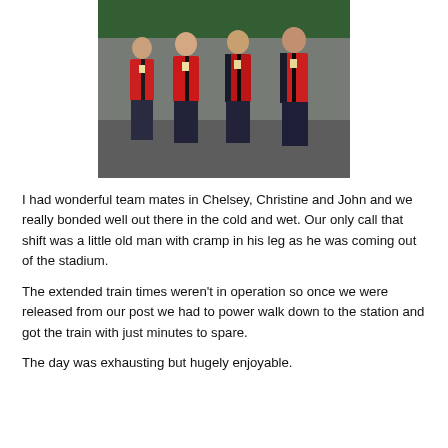[Figure (photo): Group photo of four people wearing red team jackets and dark pants, standing together outdoors at what appears to be a sports event venue.]
I had wonderful team mates in Chelsey, Christine and John and we really bonded well out there in the cold and wet.  Our only call that shift was a little old man with cramp in his leg as he was coming out of the stadium.
The extended train times weren't in operation so once we were released from our post we had to power walk down to the station and got the train with just minutes to spare.
The day was exhausting but hugely enjoyable.